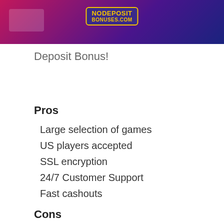NODEPOSITBONUSES.COM
Deposit Bonus!
Pros
Large selection of games
US players accepted
SSL encryption
24/7 Customer Support
Fast cashouts
Cons
No over-the-phone support
No third-party audits
US players from Missouri, Kentucky, New
York, New Jersey, Maryland (partial text cut off)